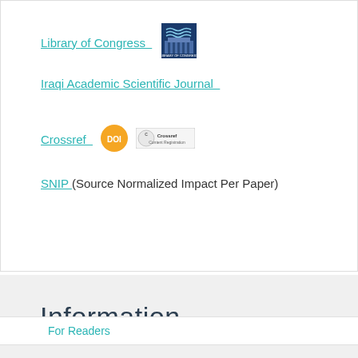Library of Congress
[Figure (logo): Library of Congress logo — blue building icon with wavy lines, text 'LIBRARY OF CONGRESS' below]
Iraqi Academic Scientific Journal
Crossref
[Figure (logo): DOI golden circle badge logo]
[Figure (logo): Crossref member badge logo]
SNIP (Source Normalized Impact Per Paper)
Information
For Readers